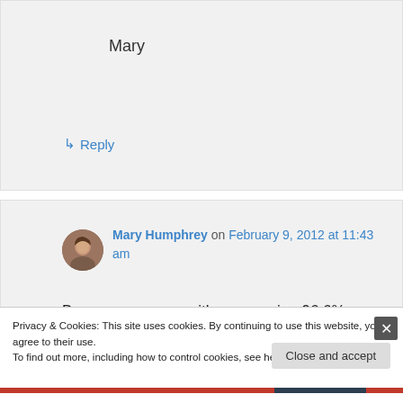Mary
↳ Reply
Mary Humphrey on February 9, 2012 at 11:43 am
Because you won with an amazing 96.6% accuracy, we opted to send to you both bars of soap. Enjoy your grand prize, Matt!
Privacy & Cookies: This site uses cookies. By continuing to use this website, you agree to their use.
To find out more, including how to control cookies, see here: Cookie Policy
Close and accept